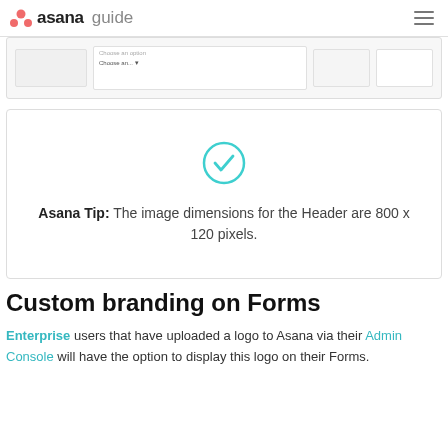asana guide
[Figure (screenshot): Partial screenshot of an Asana form interface showing dropdown fields with 'Choose an option' labels]
[Figure (infographic): Tip box with a teal checkmark circle icon and text: Asana Tip: The image dimensions for the Header are 800 x 120 pixels.]
Custom branding on Forms
Enterprise users that have uploaded a logo to Asana via their Admin Console will have the option to display this logo on their Forms.